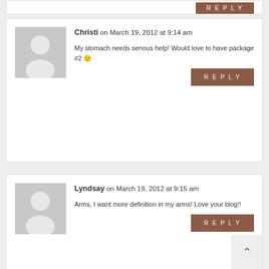[Figure (other): Top of a comment card partially visible, showing a brown REPLY button at the bottom right.]
Christi on March 19, 2012 at 9:14 am
My stomach needs serious help! Would love to have package #2 🙂
Lyndsay on March 19, 2012 at 9:15 am
Arms, I want more definition in my arms! Love your blog!!